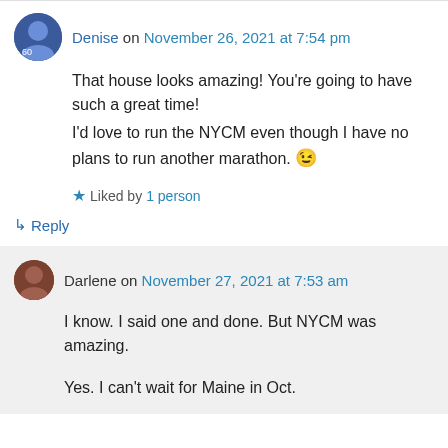Denise on November 26, 2021 at 7:54 pm
That house looks amazing! You're going to have such a great time! I'd love to run the NYCM even though I have no plans to run another marathon. 😉
Liked by 1 person
↳ Reply
Darlene on November 27, 2021 at 7:53 am
I know. I said one and done. But NYCM was amazing.
Yes. I can't wait for Maine in Oct.